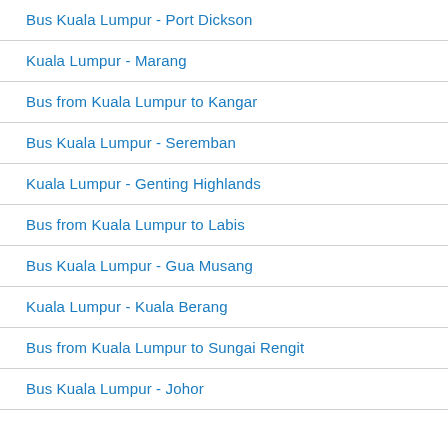Bus Kuala Lumpur - Port Dickson
Kuala Lumpur - Marang
Bus from Kuala Lumpur to Kangar
Bus Kuala Lumpur - Seremban
Kuala Lumpur - Genting Highlands
Bus from Kuala Lumpur to Labis
Bus Kuala Lumpur - Gua Musang
Kuala Lumpur - Kuala Berang
Bus from Kuala Lumpur to Sungai Rengit
Bus Kuala Lumpur - Johor